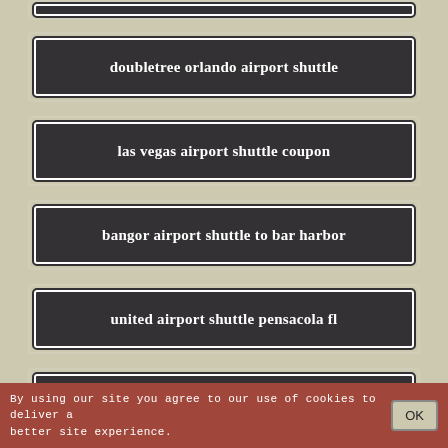doubletree orlando airport shuttle
las vegas airport shuttle coupon
bangor airport shuttle to bar harbor
united airport shuttle pensacola fl
naples to miami airport shuttle
By using our site you agree to our use of cookies to deliver a better site experience. OK